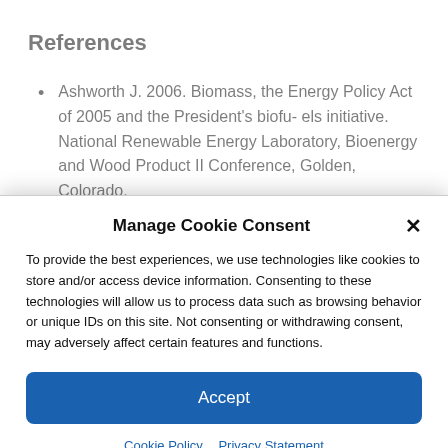References
Ashworth J. 2006. Biomass, the Energy Policy Act of 2005 and the President's biofu- els initiative. National Renewable Energy Laboratory, Bioenergy and Wood Product II Conference, Golden, Colorado,
Manage Cookie Consent
To provide the best experiences, we use technologies like cookies to store and/or access device information. Consenting to these technologies will allow us to process data such as browsing behavior or unique IDs on this site. Not consenting or withdrawing consent, may adversely affect certain features and functions.
Accept
Cookie Policy  Privacy Statement